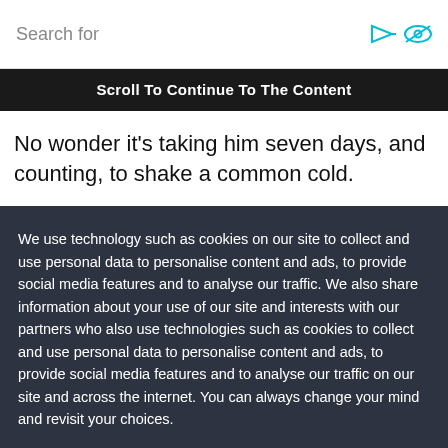Search for
Scroll To Continue To The Content
No wonder it's taking him seven days, and counting, to shake a common cold.
We use technology such as cookies on our site to collect and use personal data to personalise content and ads, to provide social media features and to analyse our traffic. We also share information about your use of our site and interests with our partners who also use technologies such as cookies to collect and use personal data to personalise content and ads, to provide social media features and to analyse our traffic on our site and across the internet. You can always change your mind and revisit your choices.
Manage Options
I Accept